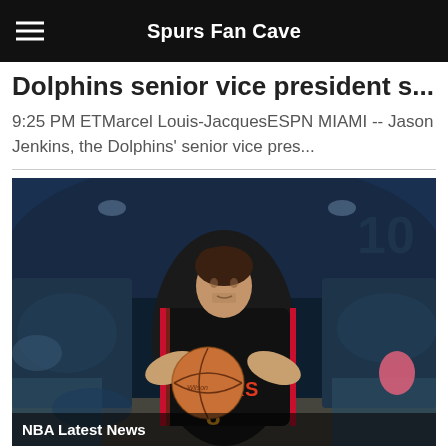Spurs Fan Cave
Dolphins senior vice president s...
9:25 PM ETMarcel Louis-JacquesESPN MIAMI -- Jason Jenkins, the Dolphins' senior vice pres...
[Figure (photo): Atlanta Hawks player wearing black jersey #8 holding a basketball in shooting position, inside an NBA arena with crowd in background]
NBA Latest News